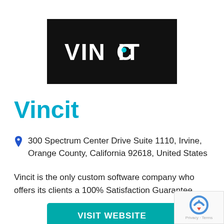[Figure (logo): Vincit company logo: white text 'VINCIT' on black background rectangle]
Vincit
300 Spectrum Center Drive Suite 1110, Irvine, Orange County, California 92618, United States
Vincit is the only custom software company who offers its clients a 100% Satisfaction Guarantee
VISIT WEBSITE
VIEW PROFILE